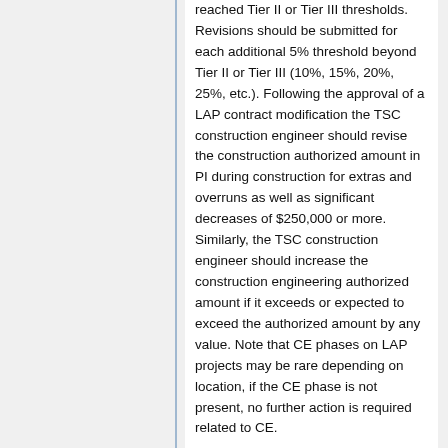reached Tier II or Tier III thresholds. Revisions should be submitted for each additional 5% threshold beyond Tier II or Tier III (10%, 15%, 20%, 25%, etc.). Following the approval of a LAP contract modification the TSC construction engineer should revise the construction authorized amount in PI during construction for extras and overruns as well as significant decreases of $250,000 or more. Similarly, the TSC construction engineer should increase the construction engineering authorized amount if it exceeds or expected to exceed the authorized amount by any value. Note that CE phases on LAP projects may be rare depending on location, if the CE phase is not present, no further action is required related to CE.